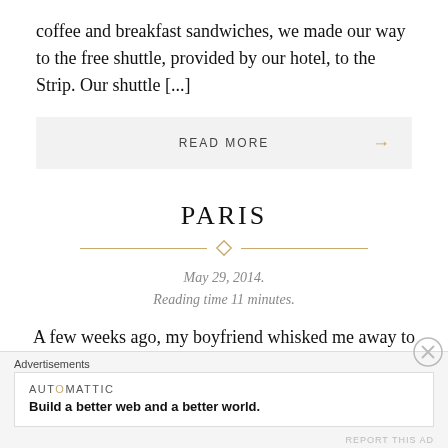coffee and breakfast sandwiches, we made our way to the free shuttle, provided by our hotel, to the Strip. Our shuttle [...]
READ MORE →
PARIS
May 29, 2014.
Reading time 11 minutes.
A few weeks ago, my boyfriend whisked me away to Paris for our one year anniversary. He had booked us a
Advertisements
AUTOMATTIC
Build a better web and a better world.